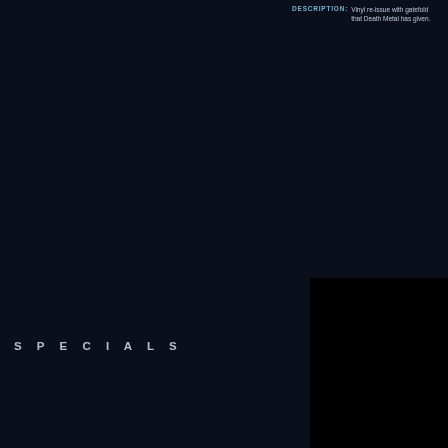DESCRIPTION: Vinyl re-issue with gatefold... that Death Metal has given.
VADER
S P E C I A L S
[Figure (photo): Black album cover image for VADER - The Beast]
VADER
The Beast
[CD] 12.95 €
[Figure (photo): Black album cover image for VADER - The Art of...]
VADER
The Art of War
[MCD] 8.95 €
[Figure (photo): Black album cover image for VADER - Blood]
VADER
Blood
[CD] 8.95 €
[Figure (photo): Black album cover image for VADER - De Profundis]
VADER
De Profundis
[VARIOUS] 7...
F O R M A T